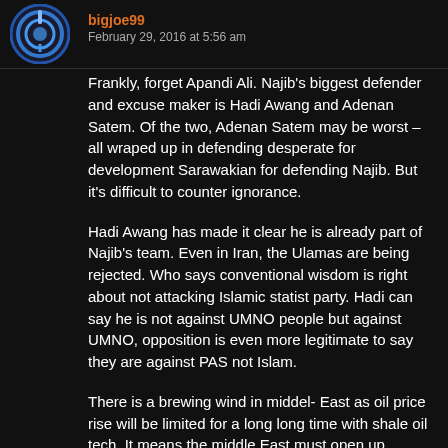bigjoe99  February 29, 2016 at 5:56 am
Frankly, forget Apandi Ali. Najib's biggest defender and excuse maker is Hadi Awang and Adenan Satem. Of the two, Adenan Satem may be worst – all wraped up in defending desperate for development Sarawakian for defending Najib. But it's difficult to counter ignorance.
Hadi Awang has made it clear he is already part of Najib's team. Even in Iran, the Ulamas are being rejected. Who says conventional wisdom is right about not attacking Islamic statist party. Hadi can say he is not against UMNO people but against UMNO, opposition is even more legitimate to say they are against PAS not Islam.
There is a brewing wind in middel- East as oil price rise will be limited for a long long time with shale oil tech. It means the middle East must open up, modernise as their cost is unmanageable. When they